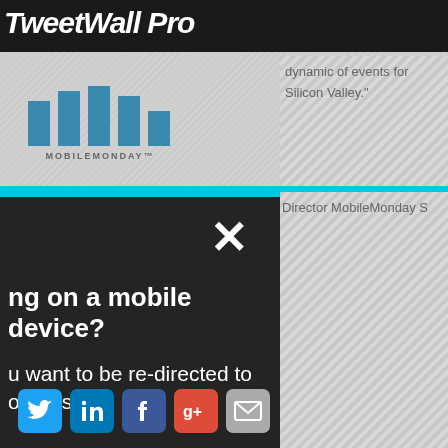TweetWall Pro
[Figure (logo): MobileMonday logo with blue bar chart icon and text MOBILEMONDAY]
dynamic of events for Silicon Valley."
Director MobileMonday S
[Figure (screenshot): Modal dialog popup on dark background asking 'ng on a mobile device?' and 'u want to be re-directed to our e site?' with No thanks and Yes please buttons and an X close button]
TweetWall Pro is easy to
ssages directly from their
--
Christophe Lefevre, Community Manag
[Figure (infographic): Social media icon buttons: Twitter, LinkedIn, Facebook, Google+, Email]